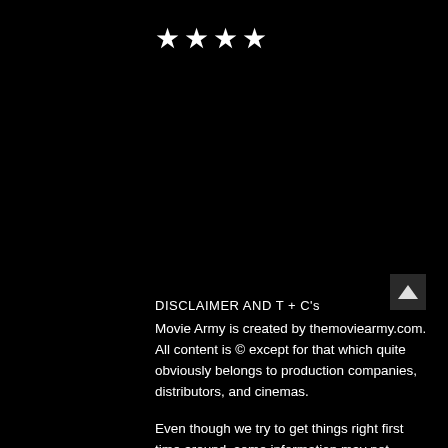[Figure (other): Four white stars rating symbol]
DISCLAIMER AND T + C's
Movie Army is created by themoviearmy.com. All content is © except for that which quite obviously belongs to production companies, distributors, and cinemas.
Even though we try to get things right first time around, some information may not always be on the money. themoviearmy.com nor any other third party accepts liability for any inaccurate information.